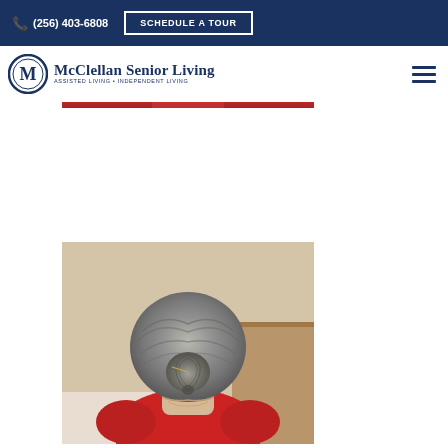(256) 403-6808  SCHEDULE A TOUR
[Figure (logo): McClellan Senior Living logo with M emblem and text: ASSISTED LIVING + INDEPENDENT LIVING]
[Figure (photo): Partial photo of a person wearing red, visible at top near nav bar]
[Figure (photo): Photo of elderly person with gray hair in a bun, wearing red clothing, viewed from behind, seated at a table]